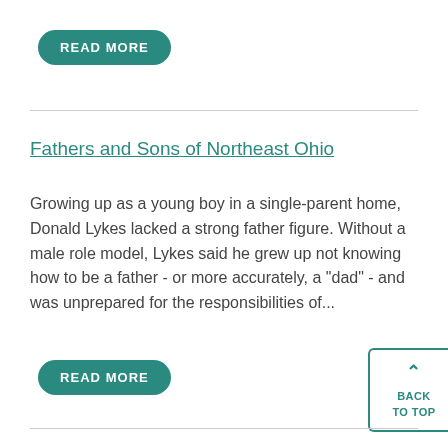READ MORE
Fathers and Sons of Northeast Ohio
Growing up as a young boy in a single-parent home, Donald Lykes lacked a strong father figure. Without a male role model, Lykes said he grew up not knowing how to be a father - or more accurately, a "dad" - and was unprepared for the responsibilities of...
READ MORE